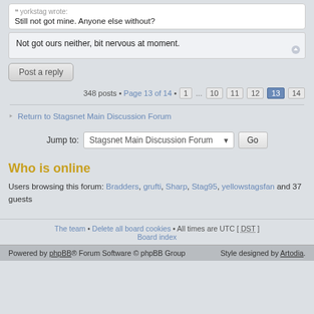yorkstag wrote: Still not got mine. Anyone else without?
Not got ours neither, bit nervous at moment.
Post a reply
348 posts • Page 13 of 14 • 1 ... 10 11 12 13 14
Return to Stagsnet Main Discussion Forum
Jump to: Stagsnet Main Discussion Forum Go
Who is online
Users browsing this forum: Bradders, grufti, Sharp, Stag95, yellowstagsfan and 37 guests
The team • Delete all board cookies • All times are UTC [ DST ] Board index
Powered by phpBB® Forum Software © phpBB Group    Style designed by Artodia.